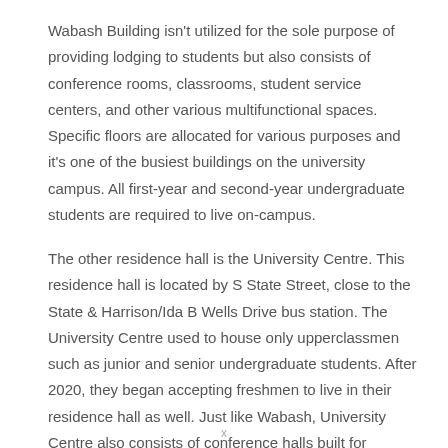Wabash Building isn't utilized for the sole purpose of providing lodging to students but also consists of conference rooms, classrooms, student service centers, and other various multifunctional spaces. Specific floors are allocated for various purposes and it's one of the busiest buildings on the university campus. All first-year and second-year undergraduate students are required to live on-campus.
The other residence hall is the University Centre. This residence hall is located by S State Street, close to the State & Harrison/Ida B Wells Drive bus station. The University Centre used to house only upperclassmen such as junior and senior undergraduate students. After 2020, they began accepting freshmen to live in their residence hall as well. Just like Wabash, University Centre also consists of conference halls built for multipurpose along with lodging amenities.
x